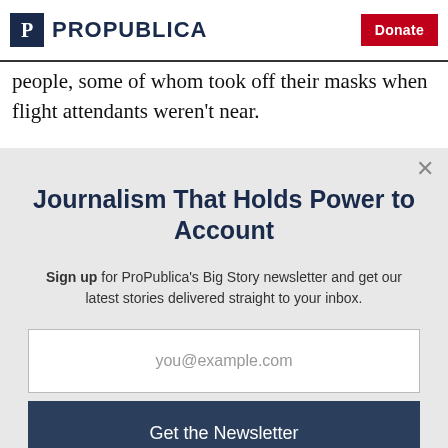ProPublica | Donate
people, some of whom took off their masks when flight attendants weren't near.
Journalism That Holds Power to Account
Sign up for ProPublica's Big Story newsletter and get our latest stories delivered straight to your inbox.
you@example.com
Get the Newsletter
No thanks, I'm all set
This site is protected by reCAPTCHA and the Google Privacy Policy and Terms of Service apply.